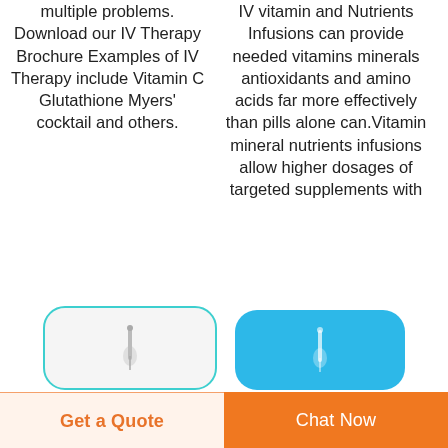multiple problems. Download our IV Therapy Brochure Examples of IV Therapy include Vitamin C Glutathione Myers' cocktail and others.
IV vitamin and Nutrients Infusions can provide needed vitamins minerals antioxidants and amino acids far more effectively than pills alone can.Vitamin mineral nutrients infusions allow higher dosages of targeted supplements with
[Figure (photo): IV therapy needle/bag on white rounded rectangle with teal border]
[Figure (photo): IV therapy needle/bag on blue rounded rectangle]
Get a Quote
Chat Now